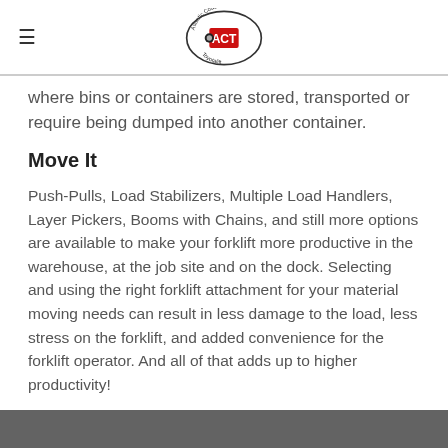Atlantic Coast ACT Toyotalift (logo)
where bins or containers are stored, transported or require being dumped into another container.
Move It
Push-Pulls, Load Stabilizers, Multiple Load Handlers, Layer Pickers, Booms with Chains, and still more options are available to make your forklift more productive in the warehouse, at the job site and on the dock. Selecting and using the right forklift attachment for your material moving needs can result in less damage to the load, less stress on the forklift, and added convenience for the forklift operator. And all of that adds up to higher productivity!